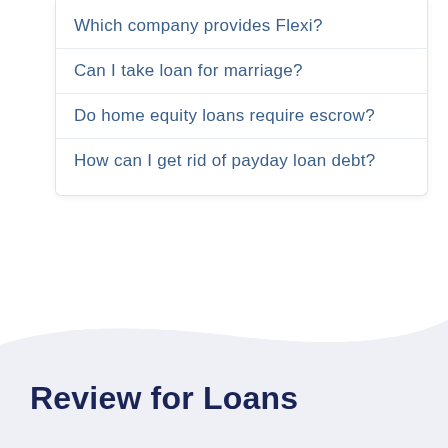Which company provides Flexi?
Can I take loan for marriage?
Do home equity loans require escrow?
How can I get rid of payday loan debt?
Review for Loans